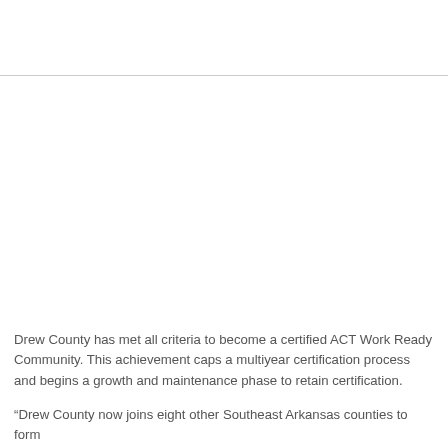Drew County has met all criteria to become a certified ACT Work Ready Community. This achievement caps a multiyear certification process and begins a growth and maintenance phase to retain certification.
“Drew County now joins eight other Southeast Arkansas counties to form